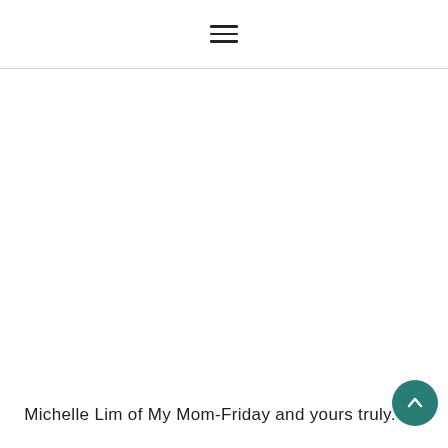≡
Michelle Lim of My Mom-Friday and yours truly.